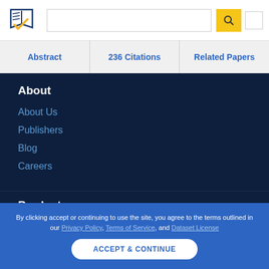[Figure (logo): Semantic Scholar logo - stylized book/paper with checkmark, blue and gold colors]
Abstract
236 Citations
Related Papers
About
About Us
Publishers
Blog
Careers
Product
By clicking accept or continuing to use the site, you agree to the terms outlined in our Privacy Policy, Terms of Service, and Dataset License
ACCEPT & CONTINUE